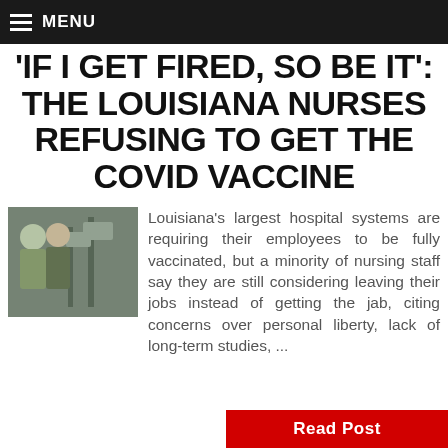MENU
IF I GET FIRED, SO BE IT': THE LOUISIANA NURSES REFUSING TO GET THE COVID VACCINE
[Figure (photo): Medical personnel in a hospital setting, apparently nurses or doctors in scrubs near medical equipment]
Louisiana's largest hospital systems are requiring their employees to be fully vaccinated, but a minority of nursing staff say they are still considering leaving their jobs instead of getting the jab, citing concerns over personal liberty, lack of long-term studies, ...
Read Post